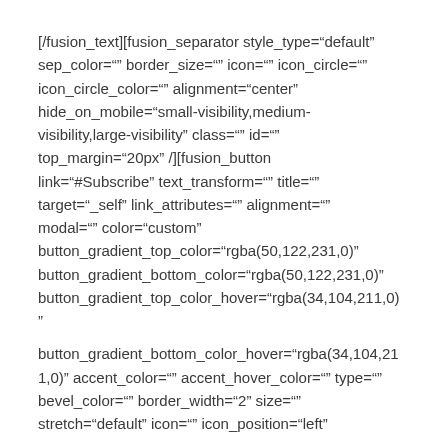[/fusion_text][fusion_separator style_type="default" sep_color="" border_size="" icon="" icon_circle="" icon_circle_color="" alignment="center" hide_on_mobile="small-visibility,medium-visibility,large-visibility" class="" id="" top_margin="20px" /][fusion_button link="#Subscribe" text_transform="" title="" target="_self" link_attributes="" alignment="" modal="" color="custom" button_gradient_top_color="rgba(50,122,231,0)" button_gradient_bottom_color="rgba(50,122,231,0)" button_gradient_top_color_hover="rgba(34,104,211,0)" button_gradient_bottom_color_hover="rgba(34,104,211,0)" accent_color="" accent_hover_color="" type="" bevel_color="" border_width="2" size="" stretch="default" icon="" icon_position="left"